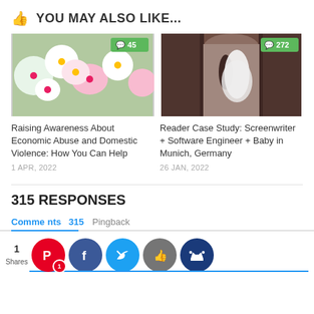YOU MAY ALSO LIKE...
[Figure (photo): Flower blossoms image with comment badge showing 45]
[Figure (photo): Wedding couple image with comment badge showing 272]
Raising Awareness About Economic Abuse and Domestic Violence: How You Can Help
1 APR, 2022
Reader Case Study: Screenwriter + Software Engineer + Baby in Munich, Germany
26 JAN, 2022
315 RESPONSES
Comments 315  Pingbacks
[Figure (infographic): Social sharing bar with 1 Share, Pinterest (1), Facebook, Twitter, Like, and Crown buttons]